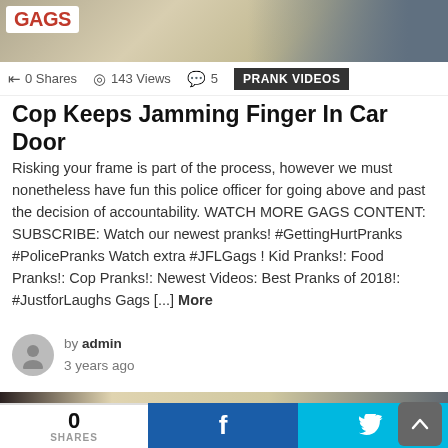[Figure (photo): Top banner image showing GAGS logo on left, person in background on right]
0 Shares   143 Views   5   PRANK VIDEOS
Cop Keeps Jamming Finger In Car Door
Risking your frame is part of the process, however we must nonetheless have fun this police officer for going above and past the decision of accountability. WATCH MORE GAGS CONTENT: SUBSCRIBE: Watch our newest pranks! #GettingHurtPranks #PolicePranks Watch extra #JFLGags ! Kid Pranks!: Food Pranks!: Cop Pranks!: Newest Videos: Best Pranks of 2018!: #JustforLaughs Gags [...] More
by admin
3 years ago
[Figure (photo): Video thumbnail showing people at a table, bottom portion of video]
0
SHARES